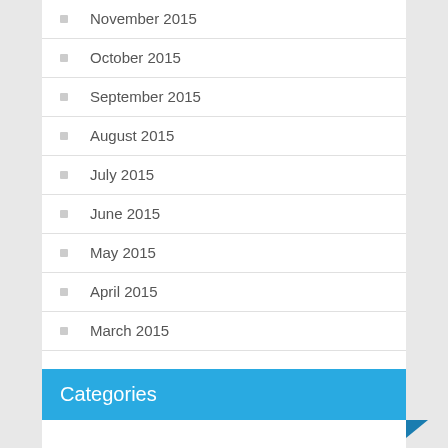November 2015
October 2015
September 2015
August 2015
July 2015
June 2015
May 2015
April 2015
March 2015
Categories
Arts and Entertainment
Business
Health
Home Improvement